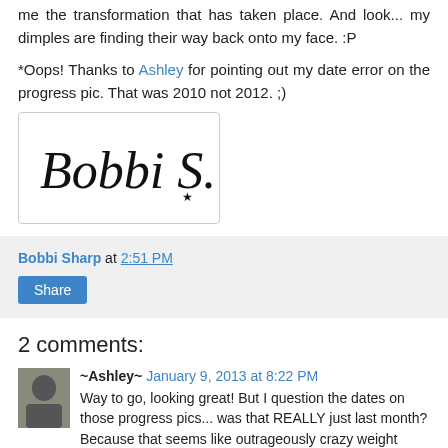me the transformation that has taken place. And look... my dimples are finding their way back onto my face. :P
*Oops! Thanks to Ashley for pointing out my date error on the progress pic. That was 2010 not 2012. ;)
[Figure (illustration): Handwritten cursive signature reading 'Bobbi S.' in a bordered box]
Bobbi Sharp at 2:51 PM
Share
2 comments:
~Ashley~ January 9, 2013 at 8:22 PM
Way to go, looking great! But I question the dates on those progress pics... was that REALLY just last month? Because that seems like outrageously crazy weight loss!